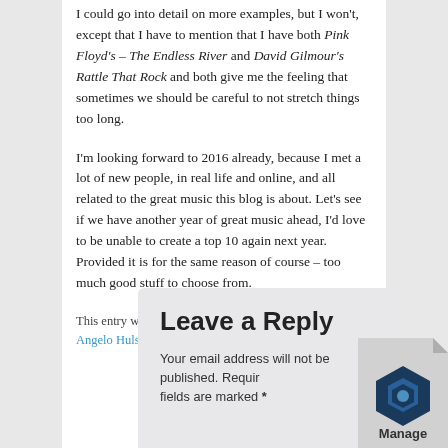I could go into detail on more examples, but I won't, except that I have to mention that I have both Pink Floyd's – The Endless River and David Gilmour's Rattle That Rock and both give me the feeling that sometimes we should be careful to not stretch things too long.
I'm looking forward to 2016 already, because I met a lot of new people, in real life and online, and all related to the great music this blog is about. Let's see if we have another year of great music ahead, I'd love to be unable to create a top 10 again next year. Provided it is for the same reason of course – too much good stuff to choose from.
This entry was posted in Angelo's Rock Orphanage by Angelo Hulshout. Bookmark the permalink.
Leave a Reply
Your email address will not be published. Required fields are marked *